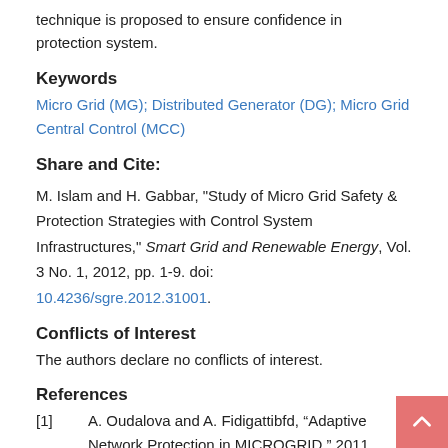technique is proposed to ensure confidence in protection system.
Keywords
Micro Grid (MG); Distributed Generator (DG); Micro Grid Central Control (MCC)
Share and Cite:
M. Islam and H. Gabbar, "Study of Micro Grid Safety & Protection Strategies with Control System Infrastructures," Smart Grid and Renewable Energy, Vol. 3 No. 1, 2012, pp. 1-9. doi: 10.4236/sgre.2012.31001.
Conflicts of Interest
The authors declare no conflicts of interest.
References
[1] A. Oudalova and A. Fidigattibfd, “Adaptive Network Protection in MICROGRID,” 2011.